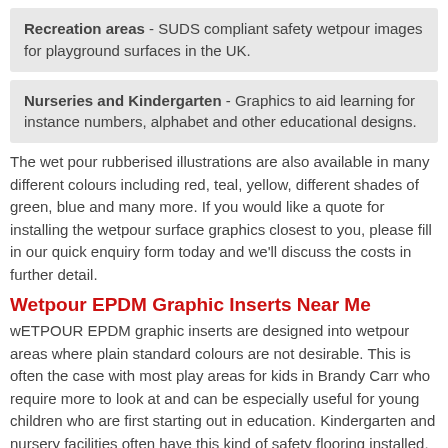Recreation areas - SUDS compliant safety wetpour images for playground surfaces in the UK.
Nurseries and Kindergarten - Graphics to aid learning for instance numbers, alphabet and other educational designs.
The wet pour rubberised illustrations are also available in many different colours including red, teal, yellow, different shades of green, blue and many more. If you would like a quote for installing the wetpour surface graphics closest to you, please fill in our quick enquiry form today and we'll discuss the costs in further detail.
Wetpour EPDM Graphic Inserts Near Me
wETPOUR EPDM graphic inserts are designed into wetpour areas where plain standard colours are not desirable. This is often the case with most play areas for kids in Brandy Carr who require more to look at and can be especially useful for young children who are first starting out in education. Kindergarten and nursery facilities often have this kind of safety flooring installed, particularly where equipment is being used.